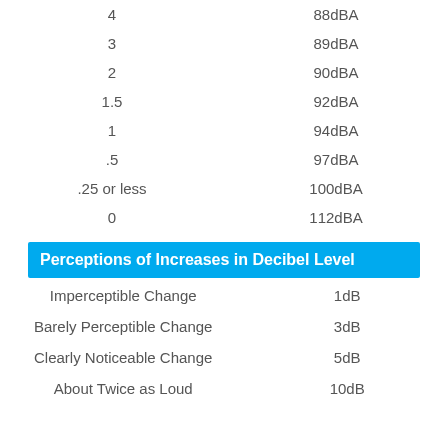| Duration (hours) | Sound Level |
| --- | --- |
| 4 | 88dBA |
| 3 | 89dBA |
| 2 | 90dBA |
| 1.5 | 92dBA |
| 1 | 94dBA |
| .5 | 97dBA |
| .25 or less | 100dBA |
| 0 | 112dBA |
Perceptions of Increases in Decibel Level
| Perception | Level |
| --- | --- |
| Imperceptible Change | 1dB |
| Barely Perceptible Change | 3dB |
| Clearly Noticeable Change | 5dB |
| About Twice as Loud | 10dB |